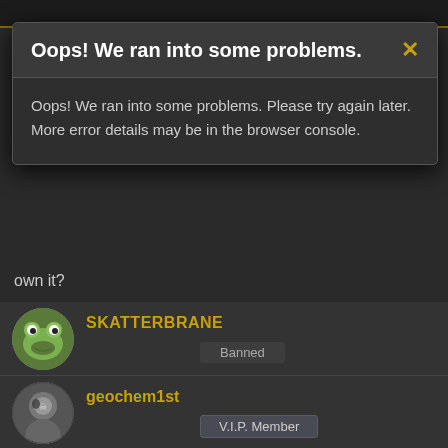[Figure (screenshot): Dark-themed forum page with an error modal dialog overlay]
Oops! We ran into some problems.
Oops! We ran into some problems. Please try again later. More error details may be in the browser console.
own it?
SKATTERBRANE
Banned
Mar 6, 2009
#9
As usual, people KNOW the answer and what to do, but are unwilling to actually do it. Every last problem that faces people, can be solved, it is a matter of will.
geochem1st
V.I.P. Member